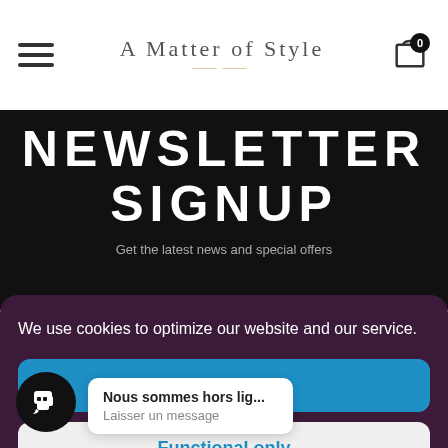A Matter of Style
NEWSLETTER SIGNUP
Get the latest news and special offers
We use cookies to optimize our website and our service.
All cookies
Functional only
View preferences
Nous sommes hors lig...
Laisser un message